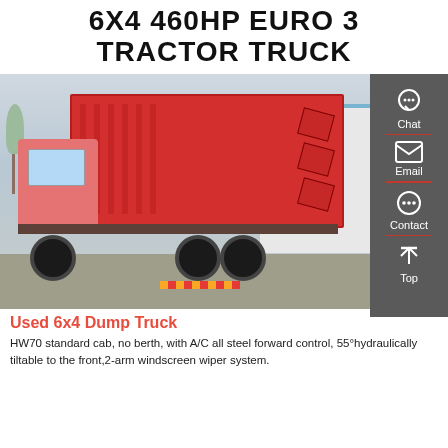6X4 460HP EURO 3 TRACTOR TRUCK
[Figure (photo): Red 6x4 dump truck parked in an industrial yard with a large red cargo body, six wheels visible, and a warehouse building in the background. A dark grey sidebar with Chat, Email, Contact, and Top icons is overlaid on the right side of the image.]
Used 6x4 Dump Truck
HW70 standard cab, no berth, with A/C all steel forward control, 55°hydraulically tiltable to the front,2-arm windscreen wiper system.